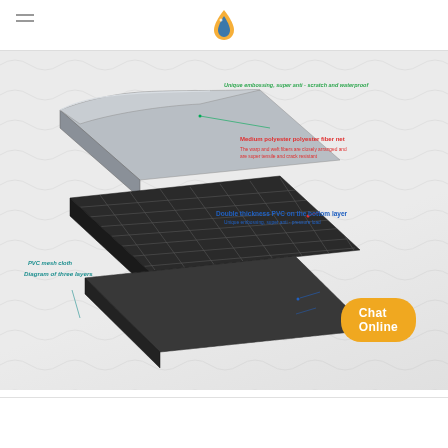[Figure (engineering-diagram): Exploded/peeled view diagram of PVC mesh cloth showing three layers: top gray smooth layer with 'Unique embossing, super anti-scratch and waterproof' annotation, middle black grid polyester fiber net layer with 'Medium polyester polyester fiber net' in red and description 'The warp and weft fibers are closely arranged and are super tensile and crack resistant', bottom dark PVC layer with 'Double thickness PVC on the bottom layer' in blue and 'Unique embossing, super anti-pressure load' annotation. Left side labels 'PVC mesh cloth' and 'Diagram of three layers' in teal.]
Chat Online